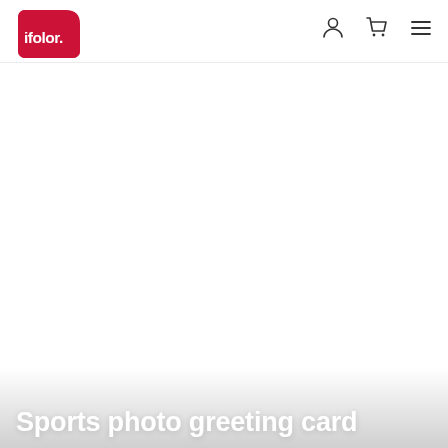[Figure (logo): ifolor logo — white text 'ifolor.' on red rounded-corner square background]
[Figure (other): Navigation icons: user/account icon, shopping cart icon, hamburger menu icon]
[Figure (photo): Large white/blank content area — product page body, mostly white]
Sports photo greeting card